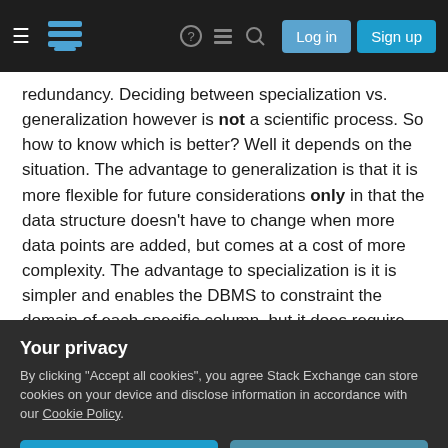[Figure (screenshot): Stack Exchange navigation bar with hamburger menu, logo, help, chat, search icons, and Log in / Sign up buttons on dark background]
redundancy. Deciding between specialization vs. generalization however is not a scientific process. So how to know which is better? Well it depends on the situation. The advantage to generalization is that it is more flexible for future considerations only in that the data structure doesn't have to change when more data points are added, but comes at a cost of more complexity. The advantage to specialization is it is simpler and enables the DBMS to constraint the domain of each specific column, but it does require additional columns to be added when new data
Your privacy
By clicking "Accept all cookies", you agree Stack Exchange can store cookies on your device and disclose information in accordance with our Cookie Policy.
design) but again not because it is more or less